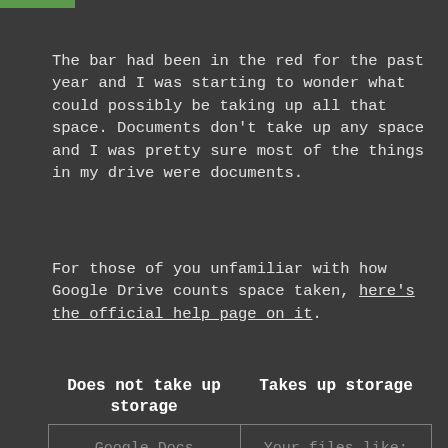The bar had been in the red for the past year and I was starting to wonder what could possibly be taking up all that space. Documents don't take up any space and I was pretty sure most of the things in my drive were documents.
For those of you unfamiliar with how Google Drive counts space taken, here's the official help page on it.
| Does not take up storage | Takes up storage |
| --- | --- |
| Google Docs
Google Sheets
Google Slides | Your files like:
Images, Videos
PDFs |